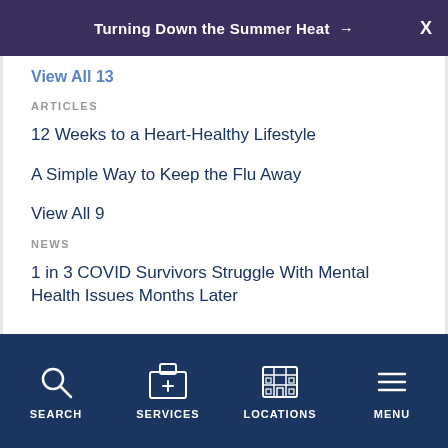Turning Down the Summer Heat →  X
View All 13
ARTICLES
12 Weeks to a Heart-Healthy Lifestyle
A Simple Way to Keep the Flu Away
View All 9
NEWS
1 in 3 COVID Survivors Struggle With Mental Health Issues Months Later
SEARCH  SERVICES  LOCATIONS  MENU